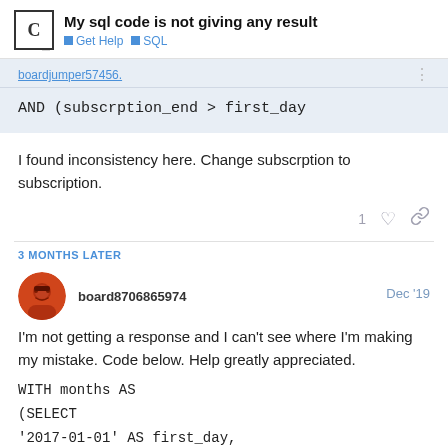My sql code is not giving any result
Get Help  SQL
boardjumper57456.
I found inconsistency here. Change subscrption to subscription.
3 MONTHS LATER
board8706865974   Dec '19
I'm not getting a response and I can't see where I'm making my mistake. Code below. Help greatly appreciated.
WITH months AS
(SELECT
'2017-01-01' AS first_day,